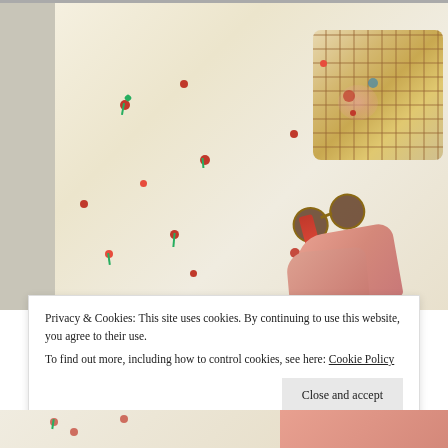[Figure (photo): Flat lay fashion photo showing a white floral spaghetti-strap dress with red and green floral patterns, a plaid handbag, sunglasses, red lipstick, and pink heeled shoes arranged on a white bed surface.]
Privacy & Cookies: This site uses cookies. By continuing to use this website, you agree to their use.
To find out more, including how to control cookies, see here: Cookie Policy
Close and accept
[Figure (photo): Partial bottom strip of another fashion photo showing floral dress fabric and pink heeled shoes.]